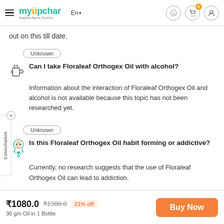myUpchar – Aapka Apna Doctor | En | (header with icons)
out on this till date.
Unknown
Can I take Floraleaf Orthogex Oil with alcohol?
Information about the interaction of Floraleaf Orthogex Oil and alcohol is not available because this topic has not been researched yet.
Unknown
Is this Floraleaf Orthogex Oil habit forming or addictive?
Currently, no research suggests that the use of Floraleaf Orthogex Oil can lead to addiction.
₹1080.0  ₹1380.0  21% off  |  Buy Now  |  30 gm Oil in 1 Bottle